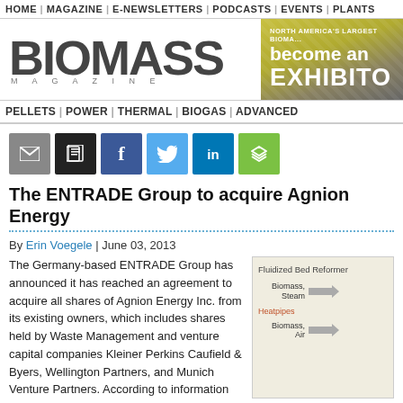HOME | MAGAZINE | E-NEWSLETTERS | PODCASTS | EVENTS | PLANTS
[Figure (logo): BIOMASS MAGAZINE logo with advertisement banner showing 'NORTH AMERICA'S LARGEST BIOMA... become an EXHIBITO...']
PELLETS | POWER | THERMAL | BIOGAS | ADVANCED
[Figure (infographic): Social sharing buttons: email (gray), print (black), Facebook (blue), Twitter (light blue), LinkedIn (dark blue), share (green)]
The ENTRADE Group to acquire Agnion Energy
By Erin Voegele | June 03, 2013
The Germany-based ENTRADE Group has announced it has reached an agreement to acquire all shares of Agnion Energy Inc. from its existing owners, which includes shares held by Waste Management and venture capital companies Kleiner Perkins Caufield & Byers, Wellington Partners, and Munich Venture Partners. According to information
[Figure (engineering-diagram): Fluidized Bed Reformer diagram showing Biomass/Steam input with arrow, Heatpipes label in orange, and Biomass/Air input with arrow]